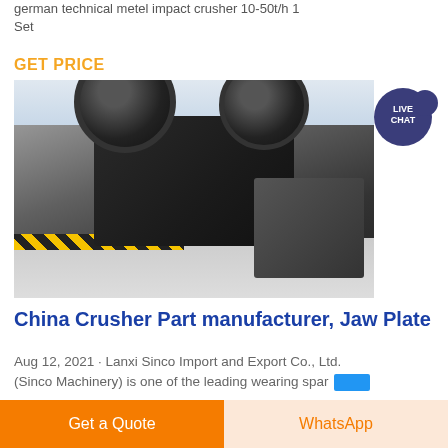german technical metel impact crusher 10-50t/h 1 Set
GET PRICE
[Figure (photo): Industrial jaw crusher machine on factory floor with large flywheels, in an industrial warehouse setting]
China Crusher Part manufacturer, Jaw Plate
Aug 12, 2021 · Lanxi Sinco Import and Export Co., Ltd. (Sinco Machinery) is one of the leading wearing spar
Get a Quote
WhatsApp